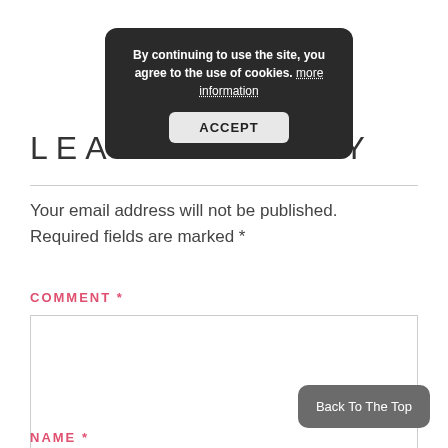[Figure (screenshot): Cookie consent popup with dark background reading 'By continuing to use the site, you agree to the use of cookies. more information' and an ACCEPT button]
LEAVE A REPLY
Your email address will not be published. Required fields are marked *
COMMENT *
[Figure (screenshot): Empty comment textarea input box]
NAME *
Back To The Top